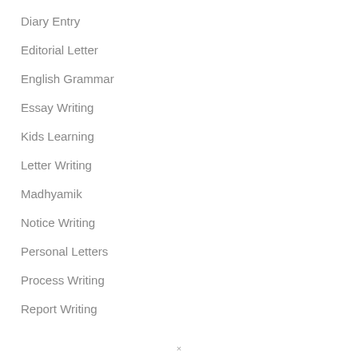Diary Entry
Editorial Letter
English Grammar
Essay Writing
Kids Learning
Letter Writing
Madhyamik
Notice Writing
Personal Letters
Process Writing
Report Writing
×